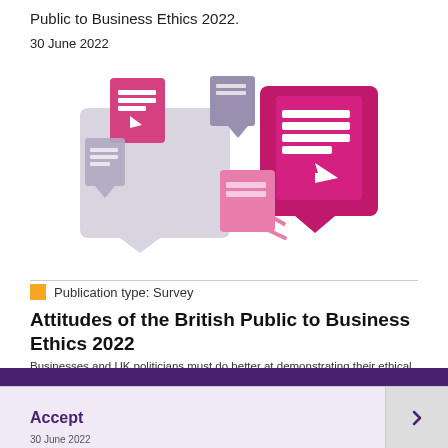Public to Business Ethics 2022.
30 June 2022
[Figure (illustration): Decorative illustration showing multiple chat bubble / document icons in pink, mauve, and light gray colors representing survey or publication materials]
Publication type: Survey
Attitudes of the British Public to Business Ethics 2022
Businesses and UK politicians must do better at demonstrating their ethical standards if they are to win back the confidence of the public — these are the results of the IBE's annual survey of the attitudes of the British public to
This website uses cookies to ensure you get the best experience on our website. More info
Accept
30 June 2022